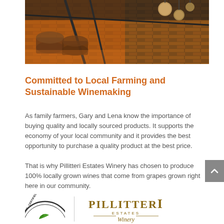[Figure (photo): Interior winery photo showing warm orange-lit brick walls with metallic globe pendant lights hanging from industrial ceiling structure]
Committed to Local Farming and Sustainable Winemaking
As family farmers, Gary and Lena know the importance of buying quality and locally sourced products. It supports the economy of your local community and it provides the best opportunity to purchase a quality product at the best price.
That is why Pillitteri Estates Winery has chosen to produce 100% locally grown wines that come from grapes grown right here in our community.
[Figure (logo): Ontario Certified Sustainable certification circular logo with green leaf, partially visible]
[Figure (logo): Pillitteri Estates Winery logo in gold/brown text]